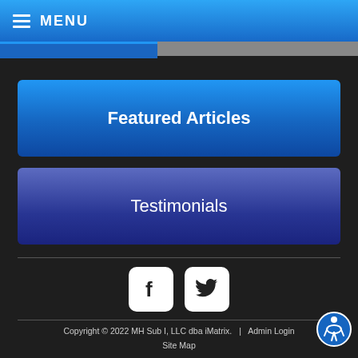MENU
Featured Articles
Testimonials
[Figure (logo): Facebook and Twitter social media icons (white rounded-square buttons)]
Copyright © 2022 MH Sub I, LLC dba iMatrix.  |  Admin Login  Site Map